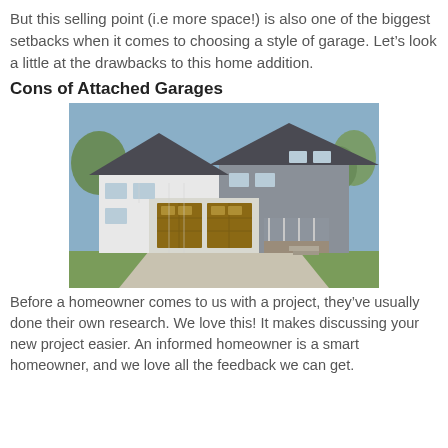But this selling point (i.e more space!) is also one of the biggest setbacks when it comes to choosing a style of garage. Let’s look a little at the drawbacks to this home addition.
Cons of Attached Garages
[Figure (photo): Large craftsman-style two-story home with attached two-car garage featuring brown wooden garage doors, white siding, stone accents, and a covered front porch, surrounded by trees.]
Before a homeowner comes to us with a project, they’ve usually done their own research. We love this! It makes discussing your new project easier. An informed homeowner is a smart homeowner, and we love all the feedback we can get.